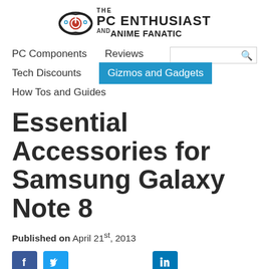[Figure (logo): The PC Enthusiast and Anime Fanatic website logo with stylized eye/power icon and bold text]
PC Components   Reviews   Tech Discounts   Gizmos and Gadgets   How Tos and Guides
Essential Accessories for Samsung Galaxy Note 8
Published on April 21st, 2013
[Figure (other): Social share buttons: Facebook, Twitter, LinkedIn]